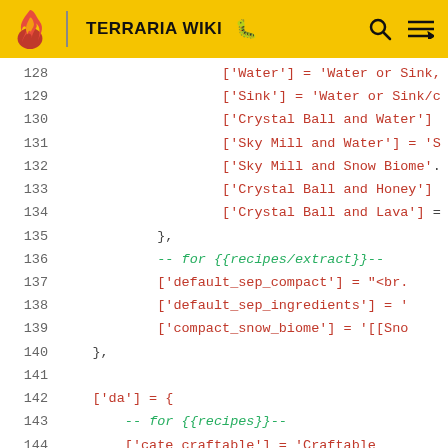TERRARIA WIKI
[Figure (screenshot): Code editor showing Lua/wiki template code lines 128-147 with syntax highlighting (red for strings, green for comments)]